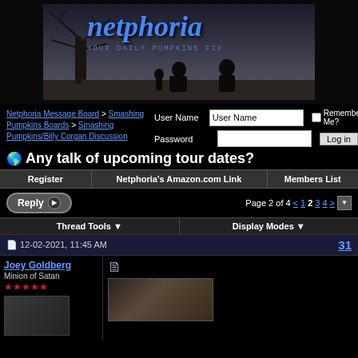[Figure (illustration): Netphoria banner with blue italic text 'netphoria' and subtitle 'YOUR DAILY PUMPKINS FIX' over a dark atmospheric photo with silhouettes and a bare tree]
Netphoria Message Board > Smashing Pumpkins Boards > Smashing Pumpkins/Billy Corgan Discussion
Any talk of upcoming tour dates?
Register | Netphoria's Amazon.com Link | Members List
Reply | Page 2 of 4  < 1 2 3 4 >
Thread Tools ▼  Display Modes ▼
12-02-2021, 11:45 AM  31
Joey Goldberg
Minion of Satan
★★★★★